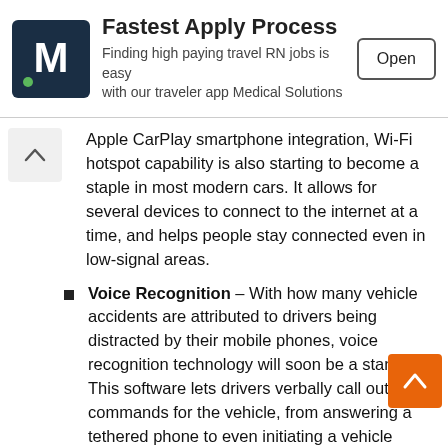[Figure (logo): Medical Solutions app advertisement banner with M logo, 'Fastest Apply Process' headline, subtitle text, and Open button]
Apple CarPlay smartphone integration, Wi-Fi hotspot capability is also starting to become a staple in most modern cars. It allows for several devices to connect to the internet at a time, and helps people stay connected even in low-signal areas.
Voice Recognition – With how many vehicle accidents are attributed to drivers being distracted by their mobile phones, voice recognition technology will soon be a standard. This software lets drivers verbally call out commands for the vehicle, from answering a tethered phone to even initiating a vehicle function such as cruise control. In the USA, the backup camera became a mandatory feature for all new cars produced as of 2018, so we're sure that anything that improves automotive safety will follow suit.
Brand-Specific Vehicle Inventions
However, some of the vehicle technology inventions that